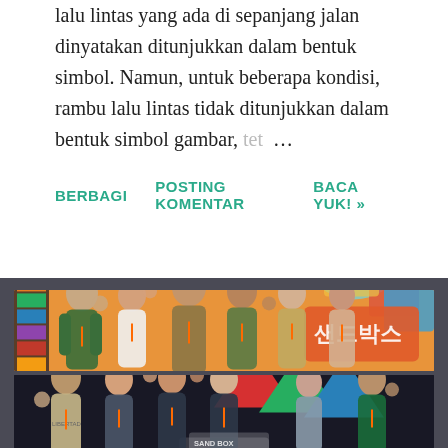lalu lintas yang ada di sepanjang jalan dinyatakan ditunjukkan dalam bentuk simbol. Namun, untuk beberapa kondisi, rambu lalu lintas tidak ditunjukkan dalam bentuk simbol gambar, tet…
BERBAGI   POSTING KOMENTAR   BACA YUK! »
[Figure (photo): Two stacked promotional photos of a Korean TV drama/show. Top photo shows six young cast members posing in front of an orange background with Korean text (산택/sandbox). Bottom photo shows another group of cast members posing with geometric triangle decorations (red, green, blue) in the background.]